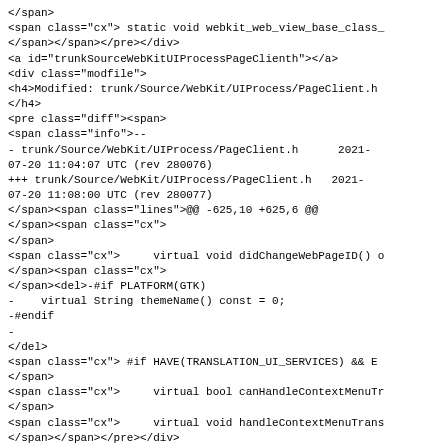</span>
<span class="cx"> static void webkit_web_view_base_class_
</span></span></pre></div>
<a id="trunkSourceWebKitUIProcessPageClienth"></a>
<div class="modfile">
<h4>Modified: trunk/Source/WebKit/UIProcess/PageClient.h
</h4>
<pre class="diff"><span>
<span class="info">--
- trunk/Source/WebKit/UIProcess/PageClient.h      2021-
07-20 11:04:07 UTC (rev 280076)
+++ trunk/Source/WebKit/UIProcess/PageClient.h   2021-
07-20 11:08:00 UTC (rev 280077)
</span><span class="lines">@@ -625,10 +625,6 @@
</span><span class="cx">
</span>
<span class="cx">     virtual void didChangeWebPageID() o
</span><span class="cx">
</span><del>-#if PLATFORM(GTK)
-    virtual String themeName() const = 0;
-#endif
-
</del>
<span class="cx"> #if HAVE(TRANSLATION_UI_SERVICES) && E
</span>
<span class="cx">     virtual bool canHandleContextMenuTr
</span>
<span class="cx">     virtual void handleContextMenuTrans
</span></span></pre></div>
<a id="trunkSourceWebKitUIProcessWebPageProxycpp"></a>